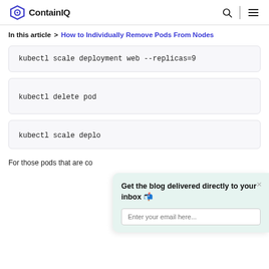ContainIQ
In this article > How to Individually Remove Pods From Nodes
Get the blog delivered directly to your inbox 📬
Enter your email here...
For those pods that are co...